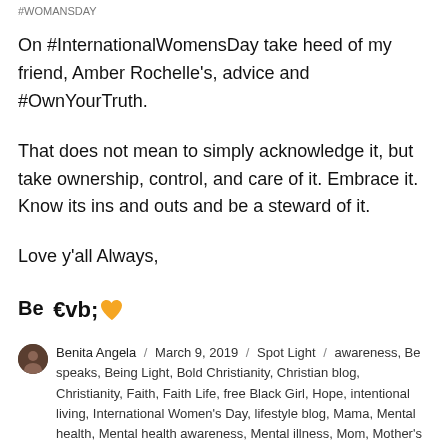#WOMANSDAY
On #InternationalWomensDay take heed of my friend, Amber Rochelle's, advice and #OwnYourTruth.
That does not mean to simply acknowledge it, but take ownership, control, and care of it. Embrace it. Know its ins and outs and be a steward of it.
Love y'all Always,
Be 🧡
Benita Angela / March 9, 2019 / Spot Light / awareness, Be speaks, Being Light, Bold Christianity, Christian blog, Christianity, Faith, Faith Life, free Black Girl, Hope, intentional living, International Women's Day, lifestyle blog, Mama, Mental health, Mental health awareness, Mental illness, Mom, Mother's